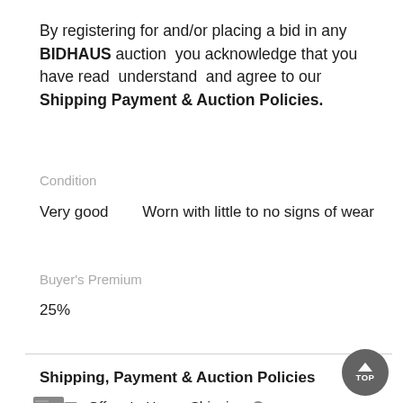By registering for and/or placing a bid in any BIDHAUS auction  you acknowledge that you have read  understand  and agree to our Shipping Payment & Auction Policies.
Condition
Very good        Worn with little to no signs of wear
Buyer's Premium
25%
Shipping, Payment & Auction Policies
Offers In-House Shipping ℹ